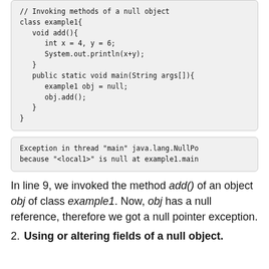// Invoking methods of a null object
class example1{
   void add(){
      int x = 4, y = 6;
      System.out.println(x+y);
   }
   public static void main(String args[]){
      example1 obj = null;
      obj.add();
   }
}
Exception in thread "main" java.lang.NullPo
because "<local1>" is null at example1.main
In line 9, we invoked the method add() of an object obj of class example1. Now, obj has a null reference, therefore we got a null pointer exception.
2. Using or altering fields of a null object.